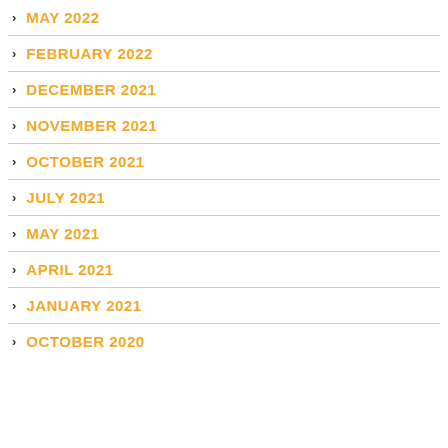MAY 2022
FEBRUARY 2022
DECEMBER 2021
NOVEMBER 2021
OCTOBER 2021
JULY 2021
MAY 2021
APRIL 2021
JANUARY 2021
OCTOBER 2020